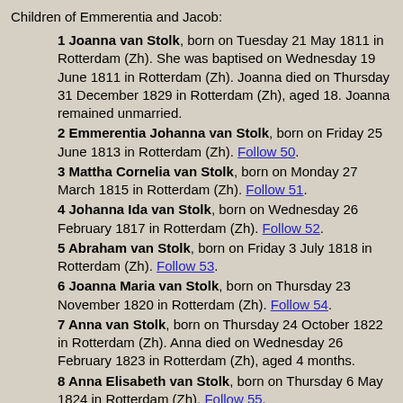Children of Emmerentia and Jacob:
1 Joanna van Stolk, born on Tuesday 21 May 1811 in Rotterdam (Zh). She was baptised on Wednesday 19 June 1811 in Rotterdam (Zh). Joanna died on Thursday 31 December 1829 in Rotterdam (Zh), aged 18. Joanna remained unmarried.
2 Emmerentia Johanna van Stolk, born on Friday 25 June 1813 in Rotterdam (Zh). Follow 50.
3 Mattha Cornelia van Stolk, born on Monday 27 March 1815 in Rotterdam (Zh). Follow 51.
4 Johanna Ida van Stolk, born on Wednesday 26 February 1817 in Rotterdam (Zh). Follow 52.
5 Abraham van Stolk, born on Friday 3 July 1818 in Rotterdam (Zh). Follow 53.
6 Joanna Maria van Stolk, born on Thursday 23 November 1820 in Rotterdam (Zh). Follow 54.
7 Anna van Stolk, born on Thursday 24 October 1822 in Rotterdam (Zh). Anna died on Wednesday 26 February 1823 in Rotterdam (Zh), aged 4 months.
8 Anna Elisabeth van Stolk, born on Thursday 6 May 1824 in Rotterdam (Zh). Follow 55.
9 Jan van Stolk, born on Saturday 21 October 1826 in Rotterdam (Zh). Follow 56.
10 Thomas van Stolk, born on Saturday 21 October